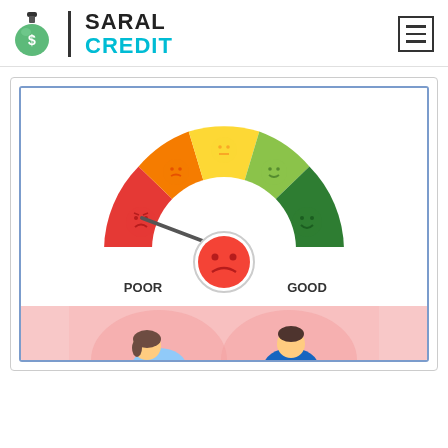[Figure (logo): Saral Credit logo with money bag icon and teal CREDIT text]
[Figure (infographic): Credit score gauge meter showing POOR to GOOD range with emoji faces, needle pointing to poor/red zone. Labels: POOR (left), GOOD (right). Red sad face emoji in center bottom.]
[Figure (illustration): Bottom pink section with partial cartoon figures of two people (man and woman)]